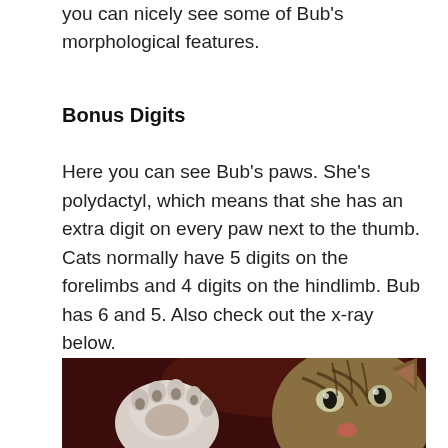you can nicely see some of Bub's morphological features.
Bonus Digits
Here you can see Bub's paws. She's polydactyl, which means that she has an extra digit on every paw next to the thumb. Cats normally have 5 digits on the forelimbs and 4 digits on the hindlimb. Bub has 6 and 5. Also check out the x-ray below.
[Figure (photo): Close-up photo of a tabby cat's face and paw raised toward the camera, showing multiple digits on the paw. Dark reddish background.]